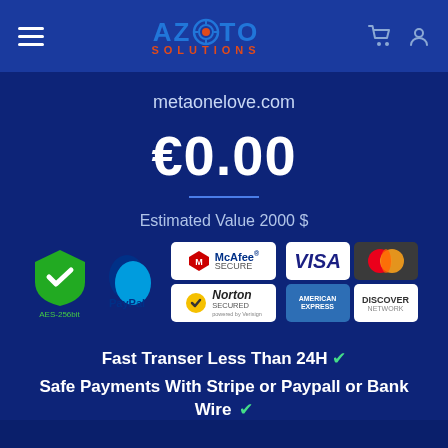[Figure (logo): Azoto Solutions logo with blue text and orange target icon, hamburger menu on left, cart and user icons on right]
metaonelove.com
€0.00
Estimated Value 2000 $
[Figure (infographic): Payment security badges: AES-256bit green shield, PayPal logo, McAfee Secure badge, Norton Secured badge, Visa card, MasterCard, American Express, Discover Network cards]
Fast Transer Less Than 24H ✔
Safe Payments With Stripe or Paypall or Bank Wire ✔